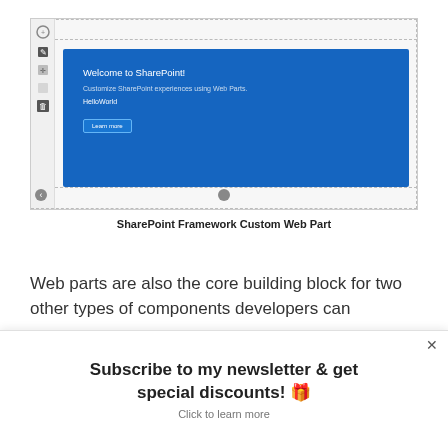[Figure (screenshot): SharePoint Framework Custom Web Part screenshot showing a blue hero banner with 'Welcome to SharePoint!' title, description text, HelloWorld label, and Learn more button. Left toolbar with icons visible.]
SharePoint Framework Custom Web Part
Web parts are also the core building block for two other types of components developers can
Subscribe to my newsletter & get special discounts! 🎁
Click to learn more